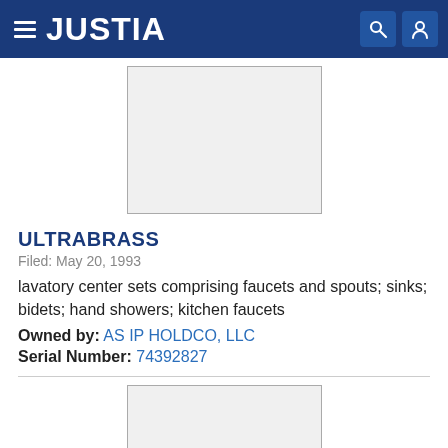JUSTIA
[Figure (other): Blank trademark image placeholder (light gray rectangle with border)]
ULTRABRASS
Filed: May 20, 1993
lavatory center sets comprising faucets and spouts; sinks; bidets; hand showers; kitchen faucets
Owned by: AS IP HOLDCO, LLC
Serial Number: 74392827
[Figure (other): Blank trademark image placeholder (light gray rectangle with border), partially visible at bottom]